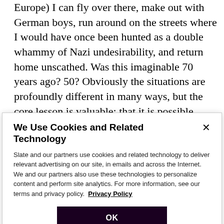Europe) I can fly over there, make out with German boys, run around on the streets where I would have once been hunted as a double whammy of Nazi undesirability, and return home unscathed. Was this imaginable 70 years ago? 50? Obviously the situations are profoundly different in many ways, but the core lesson is valuable: that it is possible, after periods of seemingly intractable violence and hatred, with no hope in sight, for change to happen. Why have we so stifled our imaginations that
We Use Cookies and Related Technology
Slate and our partners use cookies and related technology to deliver relevant advertising on our site, in emails and across the Internet. We and our partners also use these technologies to personalize content and perform site analytics. For more information, see our terms and privacy policy. Privacy Policy